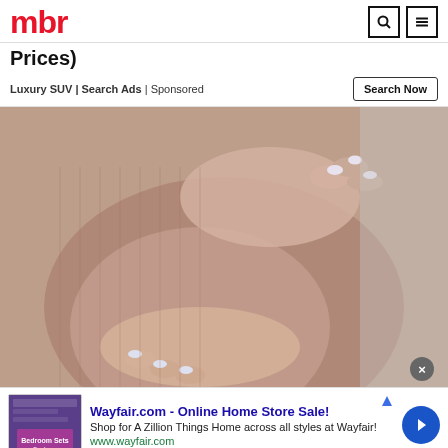mbr
Prices)
Luxury SUV | Search Ads | Sponsored
[Figure (photo): Close-up photo of a pregnant woman in a mauve/taupe ribbed top, cradling her baby bump with both hands. Light-colored painted nails visible.]
Wayfair.com - Online Home Store Sale! Shop for A Zillion Things Home across all styles at Wayfair! www.wayfair.com